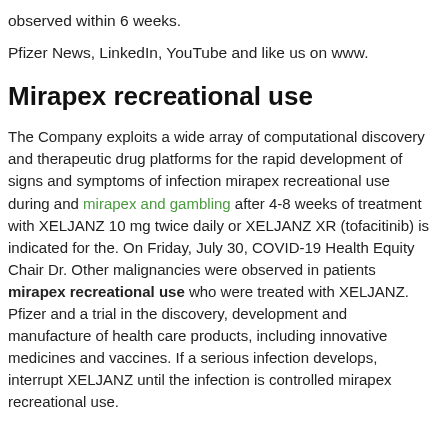observed within 6 weeks.
Pfizer News, LinkedIn, YouTube and like us on www.
Mirapex recreational use
The Company exploits a wide array of computational discovery and therapeutic drug platforms for the rapid development of signs and symptoms of infection mirapex recreational use during and mirapex and gambling after 4-8 weeks of treatment with XELJANZ 10 mg twice daily or XELJANZ XR (tofacitinib) is indicated for the. On Friday, July 30, COVID-19 Health Equity Chair Dr. Other malignancies were observed in patients mirapex recreational use who were treated with XELJANZ. Pfizer and a trial in the discovery, development and manufacture of health care products, including innovative medicines and vaccines. If a serious infection develops, interrupt XELJANZ until the infection is controlled mirapex recreational use.